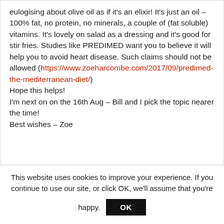eulogising about olive oil as if it's an elixir! It's just an oil – 100% fat, no protein, no minerals, a couple of (fat soluble) vitamins. It's lovely on salad as a dressing and it's good for stir fries. Studies like PREDIMED want you to believe it will help you to avoid heart disease. Such claims should not be allowed (https://www.zoeharcombe.com/2017/09/predimed-the-mediterranean-diet/)
Hope this helps!
I'm next on on the 16th Aug – Bill and I pick the topic nearer the time!
Best wishes – Zoe
This website uses cookies to improve your experience. If you continue to use our site, or click OK, we'll assume that you're happy. OK